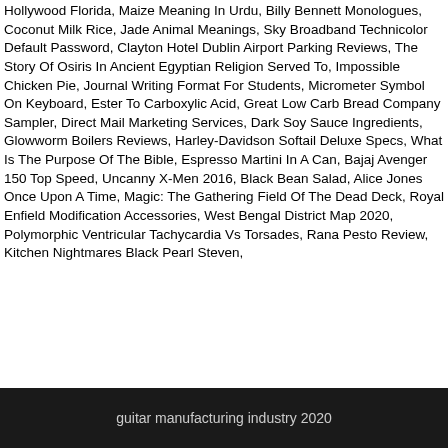Hollywood Florida, Maize Meaning In Urdu, Billy Bennett Monologues, Coconut Milk Rice, Jade Animal Meanings, Sky Broadband Technicolor Default Password, Clayton Hotel Dublin Airport Parking Reviews, The Story Of Osiris In Ancient Egyptian Religion Served To, Impossible Chicken Pie, Journal Writing Format For Students, Micrometer Symbol On Keyboard, Ester To Carboxylic Acid, Great Low Carb Bread Company Sampler, Direct Mail Marketing Services, Dark Soy Sauce Ingredients, Glowworm Boilers Reviews, Harley-Davidson Softail Deluxe Specs, What Is The Purpose Of The Bible, Espresso Martini In A Can, Bajaj Avenger 150 Top Speed, Uncanny X-Men 2016, Black Bean Salad, Alice Jones Once Upon A Time, Magic: The Gathering Field Of The Dead Deck, Royal Enfield Modification Accessories, West Bengal District Map 2020, Polymorphic Ventricular Tachycardia Vs Torsades, Rana Pesto Review, Kitchen Nightmares Black Pearl Steven,
guitar manufacturing industry 2020